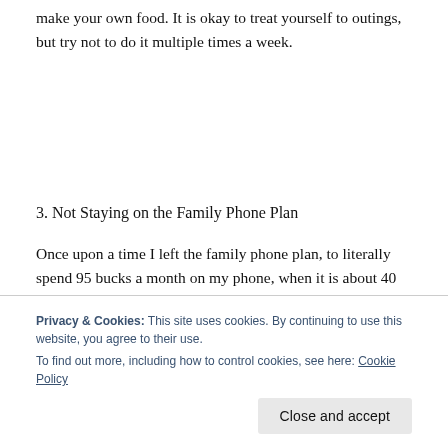make your own food. It is okay to treat yourself to outings, but try not to do it multiple times a week.
3. Not Staying on the Family Phone Plan
Once upon a time I left the family phone plan, to literally spend 95 bucks a month on my phone, when it is about 40 bucks to be on the family plan. So I spent $1,140 a year, when I could have been spending
Privacy & Cookies: This site uses cookies. By continuing to use this website, you agree to their use.
To find out more, including how to control cookies, see here: Cookie Policy